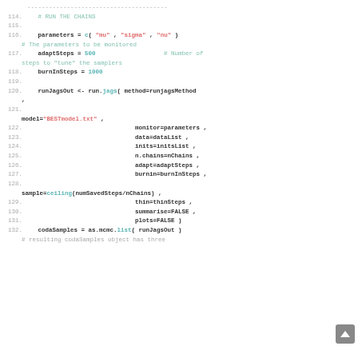Code listing showing R/JAGS code lines 114-132 with syntax highlighting. Lines include: # RUN THE CHAINS comment, parameters = c("mu", "sigma", "nu"), adaptSteps = 500 # Number of steps to tune the samplers, burnInSteps = 1000, runJagsOut <- run.jags( method=runjagsMethod , model="BESTmodel.txt" , monitor=parameters , data=dataList , inits=initsList , n.chains=nChains , adapt=adaptSteps , burnin=burnInSteps , sample=ceiling(numSavedSteps/nChains) , thin=thinSteps , summarise=FALSE , plots=FALSE ), codaSamples = as.mcmc.list( runJagsOut )